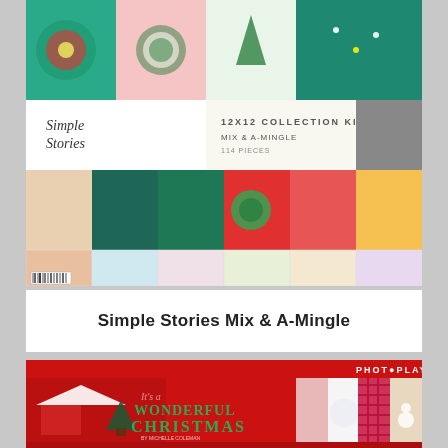[Figure (photo): Simple Stories Mix & A-Mingle 12x12 Collection Kit product packaging showing Christmas-themed scrapbook papers with teal, red, green, and pink patterns including poinsettias, ornaments, reindeer, and holiday elements]
Simple Stories Mix & A-Mingle
[Figure (photo): PhotoPlay It's a Wonderful Christmas collection kit product packaging showing red background with Christmas house, trees, snowflakes, plaid patterns, and holiday scrapbook papers]